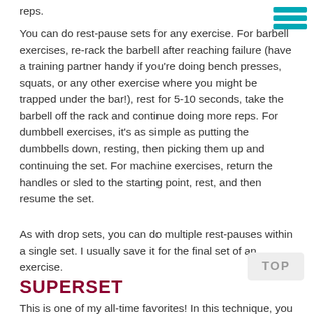reps.
[Figure (other): Teal hamburger menu icon in top-right corner]
You can do rest-pause sets for any exercise. For barbell exercises, re-rack the barbell after reaching failure (have a training partner handy if you're doing bench presses, squats, or any other exercise where you might be trapped under the bar!), rest for 5-10 seconds, take the barbell off the rack and continue doing more reps. For dumbbell exercises, it's as simple as putting the dumbbells down, resting, then picking them up and continuing the set. For machine exercises, return the handles or sled to the starting point, rest, and then resume the set.
As with drop sets, you can do multiple rest-pauses within a single set. I usually save it for the final set of an exercise.
[Figure (other): Gray TOP button in bottom-right area]
SUPERSET
This is one of my all-time favorites! In this technique, you